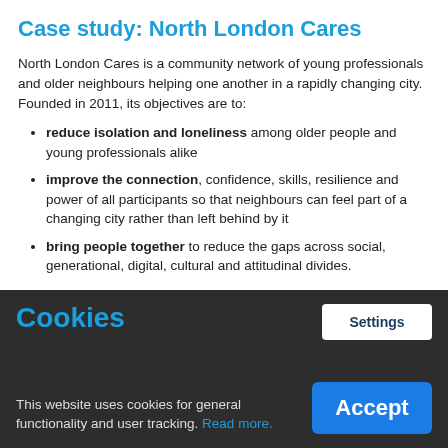Case study: North London Cares
North London Cares is a community network of young professionals and older neighbours helping one another in a rapidly changing city. Founded in 2011, its objectives are to:
reduce isolation and loneliness among older people and young professionals alike
improve the connection, confidence, skills, resilience and power of all participants so that neighbours can feel part of a changing city rather than left behind by it
bring people together to reduce the gaps across social, generational, digital, cultural and attitudinal divides.
Cookies
This website uses cookies for general functionality and user tracking. Read more.